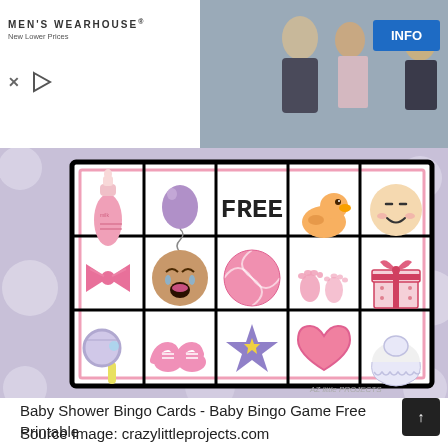[Figure (screenshot): Men's Wearhouse advertisement banner with wedding couple photo and INFO button]
[Figure (illustration): Baby shower bingo card on lavender polka-dot background with 15 cells in 5x3 grid showing baby items: baby bottle, balloon, FREE, rubber duck, smiley face, bow tie, crying baby face, ball, footprints, gift box, rattle, baby shoes, star, heart, bib. Watermark: AZ Little PROJECTS]
Baby Shower Bingo Cards - Baby Bingo Game Free Printable
Source Image: crazylittleprojects.com